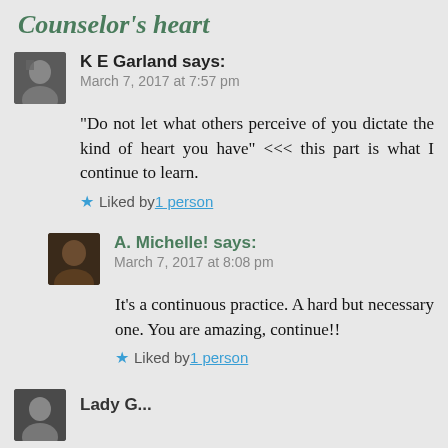Counselor's heart
K E Garland says:
March 7, 2017 at 7:57 pm
“Do not let what others perceive of you dictate the kind of heart you have” <<< this part is what I continue to learn.
Liked by 1 person
A. Michelle! says:
March 7, 2017 at 8:08 pm
It’s a continuous practice. A hard but necessary one. You are amazing, continue!!
Liked by 1 person
Lady G...